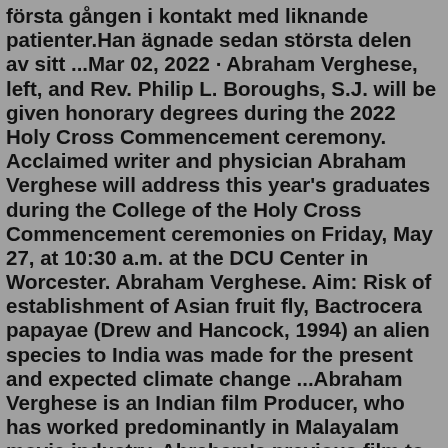första gången i kontakt med liknande patienter.Han ägnade sedan största delen av sitt ...Mar 02, 2022 · Abraham Verghese, left, and Rev. Philip L. Boroughs, S.J. will be given honorary degrees during the 2022 Holy Cross Commencement ceremony. Acclaimed writer and physician Abraham Verghese will address this year's graduates during the College of the Holy Cross Commencement ceremonies on Friday, May 27, at 10:30 a.m. at the DCU Center in Worcester. Abraham Verghese. Aim: Risk of establishment of Asian fruit fly, Bactrocera papayae (Drew and Hancock, 1994) an alien species to India was made for the present and expected climate change ...Abraham Verghese is an Indian film Producer, who has worked predominantly in Malayalam movie industry. Abraham's previous film to hit the theatres was Kadamattathu Kathanar 2022 in the year 2022. His range of proficiency embodies the diversity of the humanities; from his efforts to emphasize empathy in medicine, to his imaginative renderings of the human drama. Abraham Verghese,